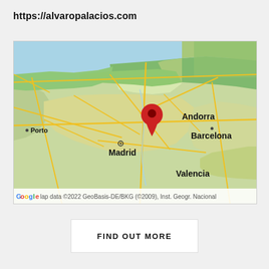https://alvaropalacios.com
[Figure (map): Google Maps showing northeastern Spain and surrounding region, with a red location pin placed in the Pyrenees area near Andorra. Cities labeled include Porto, Madrid, Barcelona, Andorra, and Valencia. Map attribution reads: Map data ©2022 GeoBasis-DE/BKG (©2009), Inst. Geogr. Nacional]
FIND OUT MORE